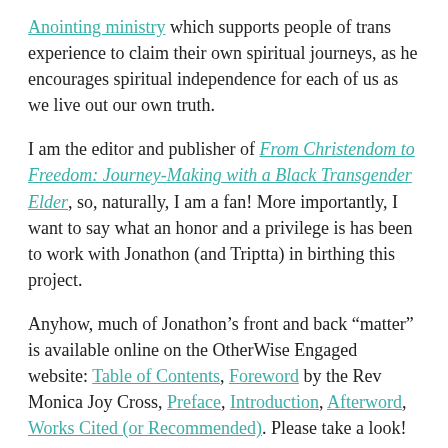Anointing ministry which supports people of trans experience to claim their own spiritual journeys, as he encourages spiritual independence for each of us as we live out our own truth.
I am the editor and publisher of From Christendom to Freedom: Journey-Making with a Black Transgender Elder, so, naturally, I am a fan! More importantly, I want to say what an honor and a privilege is has been to work with Jonathon (and Triptta) in birthing this project.
Anyhow, much of Jonathon’s front and back “matter” is available online on the OtherWise Engaged website: Table of Contents, Foreword by the Rev Monica Joy Cross, Preface, Introduction, Afterword, Works Cited (or Recommended). Please take a look!